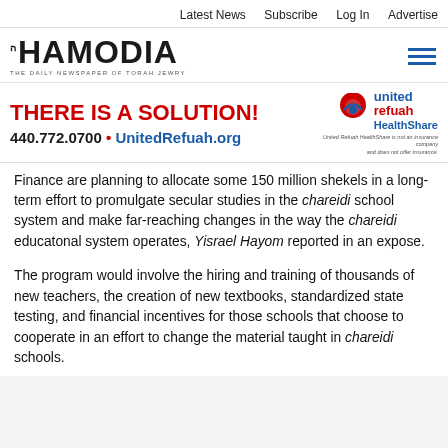Latest News  Subscribe  Log In  Advertise
[Figure (logo): Hamodia newspaper logo with Hebrew letter and tagline 'THE DAILY NEWSPAPER OF TORAH JEWRY', with hamburger menu icon on the right]
[Figure (infographic): United Refuah HealthShare advertisement banner. Headline: 'THERE IS A SOLUTION!' in red. Phone: 440.772.0700. Website: UnitedRefuah.org. Logo on right with text 'united refuah HealthShare'. Disclaimer: 'United Refuah HealthShare is not an insurance company and does not offer insurance.']
Finance are planning to allocate some 150 million shekels in a long-term effort to promulgate secular studies in the chareidi school system and make far-reaching changes in the way the chareidi educatonal system operates, Yisrael Hayom reported in an expose.
The program would involve the hiring and training of thousands of new teachers, the creation of new textbooks, standardized state testing, and financial incentives for those schools that choose to cooperate in an effort to change the material taught in chareidi schools.